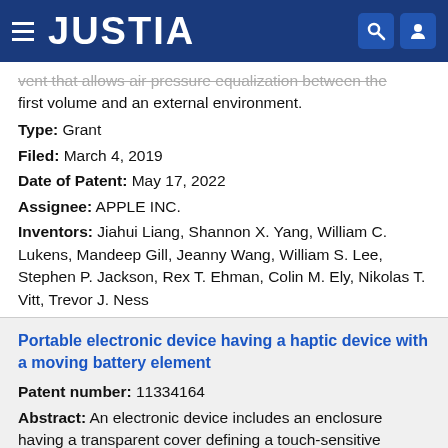JUSTIA
vent that allows air pressure equalization between the first volume and an external environment.
Type: Grant
Filed: March 4, 2019
Date of Patent: May 17, 2022
Assignee: APPLE INC.
Inventors: Jiahui Liang, Shannon X. Yang, William C. Lukens, Mandeep Gill, Jeanny Wang, William S. Lee, Stephen P. Jackson, Rex T. Ehman, Colin M. Ely, Nikolas T. Vitt, Trevor J. Ness
Portable electronic device having a haptic device with a moving battery element
Patent number: 11334164
Abstract: An electronic device includes an enclosure having a transparent cover defining a touch-sensitive surface, a display positioned within the enclosure and